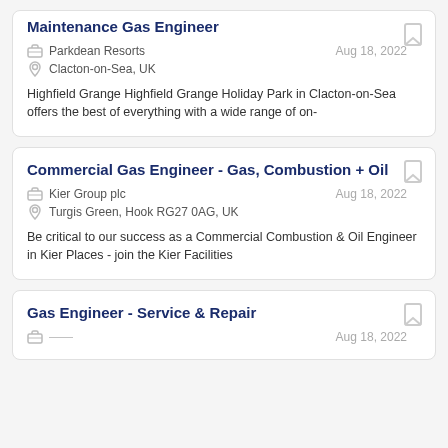Maintenance Gas Engineer
Parkdean Resorts | Aug 18, 2022 | Clacton-on-Sea, UK
Highfield Grange Highfield Grange Holiday Park in Clacton-on-Sea offers the best of everything with a wide range of on-
Commercial Gas Engineer - Gas, Combustion + Oil
Kier Group plc | Aug 18, 2022 | Turgis Green, Hook RG27 0AG, UK
Be critical to our success as a Commercial Combustion & Oil Engineer in Kier Places - join the Kier Facilities
Gas Engineer - Service & Repair
Aug 18, 2022